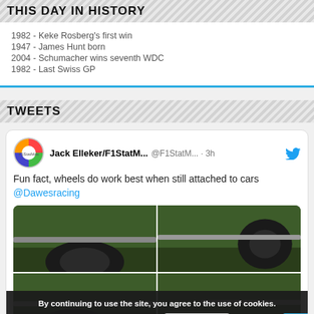THIS DAY IN HISTORY
1982 - Keke Rosberg's first win
1947 - James Hunt born
2004 - Schumacher wins seventh WDC
1982 - Last Swiss GP
TWEETS
Jack Elleker/F1StatM... @F1StatM... · 3h
Fun fact, wheels do work best when still attached to cars @Dawesracing
[Figure (screenshot): Two-panel image of F1 car wheels/tyres on a race track surface, showing detached or loose wheels on grass]
By continuing to use the site, you agree to the use of cookies. more information  Accept